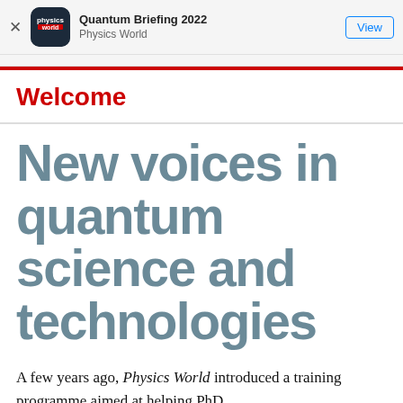Quantum Briefing 2022 | Physics World | View
Welcome
New voices in quantum science and technologies
A few years ago, Physics World introduced a training programme aimed at helping PhD